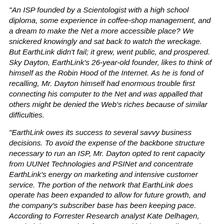"An ISP founded by a Scientologist with a high school diploma, some experience in coffee-shop management, and a dream to make the Net a more accessible place? We snickered knowingly and sat back to watch the wreckage. But EarthLink didn't fail; it grew, went public, and prospered. Sky Dayton, EarthLink's 26-year-old founder, likes to think of himself as the Robin Hood of the Internet. As he is fond of recalling, Mr. Dayton himself had enormous trouble first connecting his computer to the Net and was appalled that others might be denied the Web's riches because of similar difficulties.
"EarthLink owes its success to several savvy business decisions. To avoid the expense of the backbone structure necessary to run an ISP, Mr. Dayton opted to rent capacity from UUNet Technologies and PSINet and concentrate EarthLink's energy on marketing and intensive customer service. The portion of the network that EarthLink does operate has been expanded to allow for future growth, and the company's subscriber base has been keeping pace. According to Forrester Research analyst Kate Delhagen, 'EarthLink's spent a lot of money and it's done well; now it needs to sustain that momentum.'"